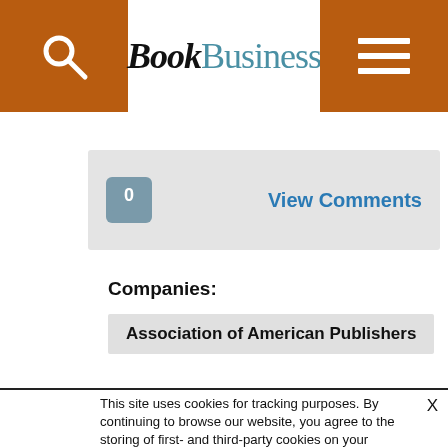BookBusiness
0  View Comments
Companies:
Association of American Publishers
This site uses cookies for tracking purposes. By continuing to browse our website, you agree to the storing of first- and third-party cookies on your device to enhance site navigation, analyze site usage, and assist in our marketing and communication efforts. Privacy Policy | Terms of Use | Close